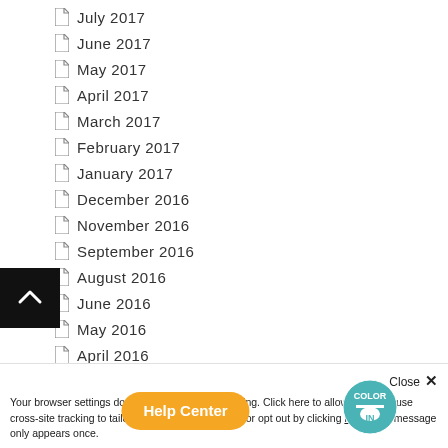July 2017
June 2017
May 2017
April 2017
March 2017
February 2017
January 2017
December 2016
November 2016
September 2016
August 2016
June 2016
May 2016
April 2016
March 2016
February 2016
October 2015
September 2015
Your browser settings do not allow cross-site tracking. Click here to allow AdRoll to use cross-site tracking to tailor ads to you. Learn more or opt out by clicking here. This message only appears once.